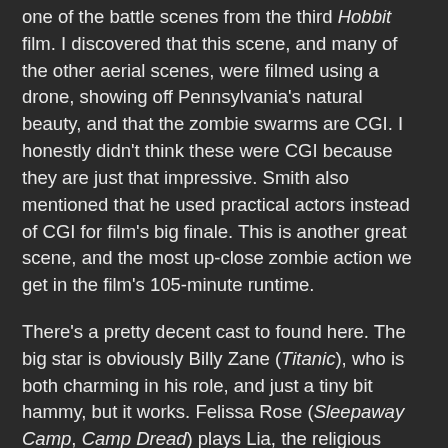one of the battle scenes from the third Hobbit film. I discovered that this scene, and many of the other aerial scenes, were filmed using a drone, showing off Pennsylvania's natural beauty, and that the zombie swarms are CGI. I honestly didn't think these were CGI because they are just that impressive. Smith also mentioned that he used practical actors instead of CGI for film's big finale. This is another great scene, and the most up-close zombie action we get in the film's 105-minute runtime.
There's a pretty decent cast to found here. The big star is obviously Billy Zane (Titanic), who is both charming in his role, and just a tiny bit hammy, but it works. Felissa Rose (Sleepaway Camp, Camp Dread) plays Lia, the religious zealot who rides the crazy train the whole way, and is clearly having a lot of fun here. Dee Wallace (E.T., The Howling) plays Ian's mother Sharon. She's a sick woman whose son has to be taken care of by her